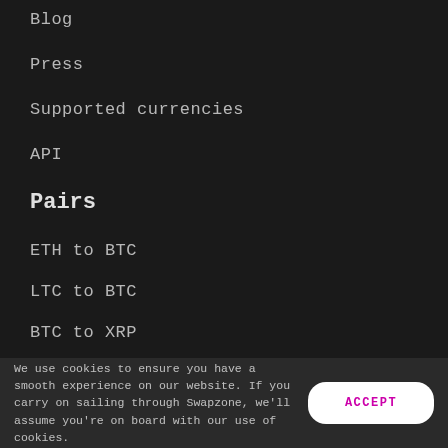Blog
Press
Supported currencies
API
Pairs
ETH to BTC
LTC to BTC
BTC to XRP
BTC to BEAM
BTC to NEM
BTC to FIL
We use cookies to ensure you have a smooth experience on our website. If you carry on sailing through Swapzone, we'll assume you're on board with our use of cookies.